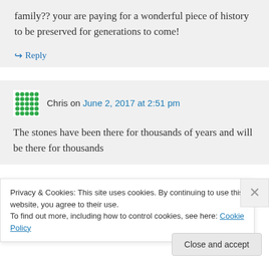family?? your are paying for a wonderful piece of history to be preserved for generations to come!
↪ Reply
Chris on June 2, 2017 at 2:51 pm
The stones have been there for thousands of years and will be there for thousands
Privacy & Cookies: This site uses cookies. By continuing to use this website, you agree to their use.
To find out more, including how to control cookies, see here: Cookie Policy
Close and accept